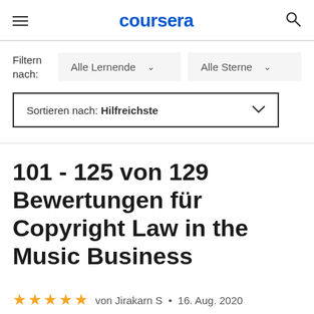coursera
Filtern nach: Alle Lernende ∨   Alle Sterne ∨
Sortieren nach: Hilfreichste
101 - 125 von 129 Bewertungen für Copyright Law in the Music Business
von Jirakarn S • 16. Aug. 2020